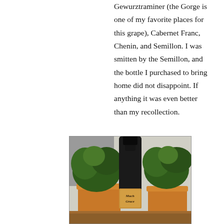Gewurztraminer (the Gorge is one of my favorite places for this grape), Cabernet Franc, Chenin, and Semillon. I was smitten by the Semillon, and the bottle I purchased to bring home did not disappoint. If anything it was even better than my recollection.
[Figure (photo): A dark wine bottle with a golden/amber label reading 'Much Grace', positioned in front of terracotta plant pots with green foliage in the background.]